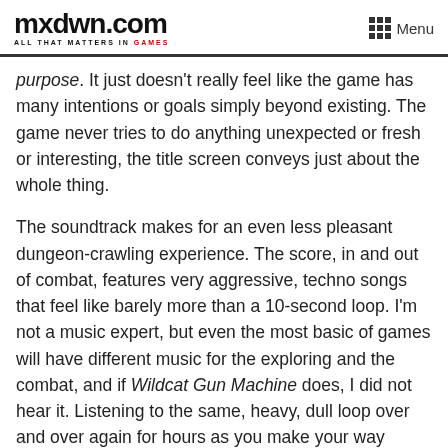mxdwn.com — ALL THAT MATTERS IN GAMES | Menu
purpose. It just doesn't really feel like the game has many intentions or goals simply beyond existing. The game never tries to do anything unexpected or fresh or interesting, the title screen conveys just about the whole thing.
The soundtrack makes for an even less pleasant dungeon-crawling experience. The score, in and out of combat, features very aggressive, techno songs that feel like barely more than a 10-second loop. I'm not a music expert, but even the most basic of games will have different music for the exploring and the combat, and if Wildcat Gun Machine does, I did not hear it. Listening to the same, heavy, dull loop over and over again for hours as you make your way through the too-long dungeons blends the rooms even more, as it hardly feels like there's a difference between the hallways, the checkpoints, and the combat.